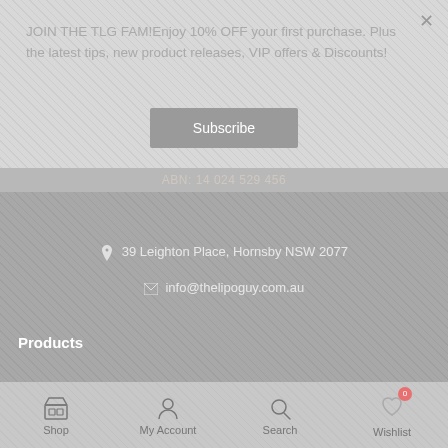JOIN THE TLG FAM!Enjoy 10% OFF your first purchase. Plus the latest tips, new product releases, VIP offers & Discounts!
Subscribe
ABN: 14 024 529 456
39 Leighton Place, Hornsby NSW 2077
info@thelipoguy.com.au
Products
Activewear & Apparel
Appetite Suppressants
BCAAs & EAAs
Shop  My Account  Search  Wishlist